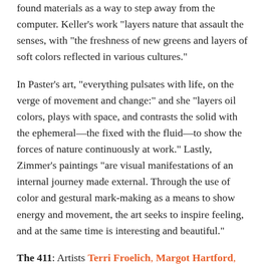found materials as a way to step away from the computer. Keller's work "layers nature that assault the senses, with "the freshness of new greens and layers of soft colors reflected in various cultures."
In Paster's art, "everything pulsates with life, on the verge of movement and change:" and she "layers oil colors, plays with space, and contrasts the solid with the ephemeral—the fixed with the fluid—to show the forces of nature continuously at work." Lastly, Zimmer's paintings "are visual manifestations of an internal journey made external. Through the use of color and gestural mark-making as a means to show energy and movement, the art seeks to inspire feeling, and at the same time is interesting and beautiful."
The 411: Artists Terri Froelich, Margot Hartford, Bibby Gignillat, Kathryn Keller, Sharon Paster and Kate Zimmer showcase their work throughout March and for the Mill Valley Arts Commission's First Tuesday Artwalk on March 6, (5:30-7:30pm) at the Mill Valley Chamber of Commerce & Visitor Bureau...